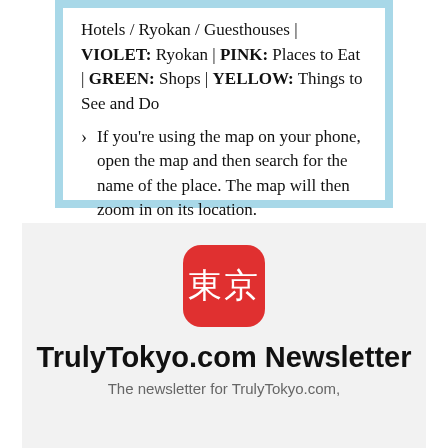Hotels / Ryokan / Guesthouses | VIOLET: Ryokan | PINK: Places to Eat | GREEN: Shops | YELLOW: Things to See and Do
If you're using the map on your phone, open the map and then search for the name of the place. The map will then zoom in on its location.
[Figure (logo): Red rounded square icon containing Japanese kanji characters 東京 (Tokyo) in white]
TrulyTokyo.com Newsletter
The newsletter for TrulyTokyo.com,